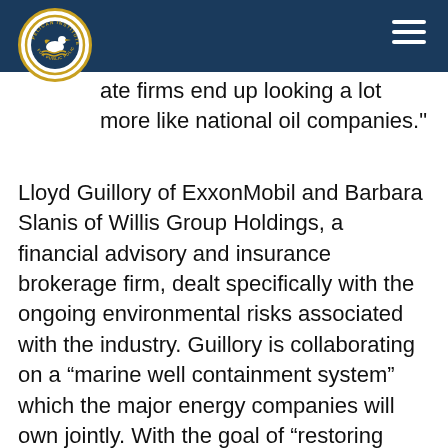Pelican Institute for Public Policy logo and navigation header
t…ate firms end up looking a lot more like national oil companies.”
Lloyd Guillory of ExxonMobil and Barbara Slanis of Willis Group Holdings, a financial advisory and insurance brokerage firm, dealt specifically with the ongoing environmental risks associated with the industry. Guillory is collaborating on a “marine well containment system” which the major energy companies will own jointly. With the goal of “restoring confidence in deepwater drilling operations,” he has already gathered $1 billion from Chevron, ConocoPhillips, ExxonMobil and Shell toward to the project.